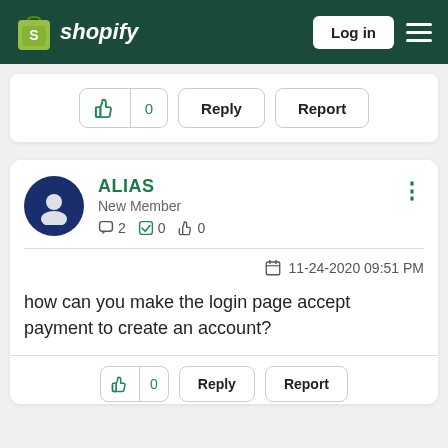Shopify - Log in
[Figure (screenshot): Partial bottom of a previous post with thumbs-up (0), Reply, and Report buttons]
ALIAS
New Member
2 posts, 0 solutions, 0 kudos
11-24-2020 09:51 PM
how can you make the login page accept payment to create an account?
[Figure (screenshot): Bottom action buttons: thumbs-up (0), Reply, Report — partially visible]